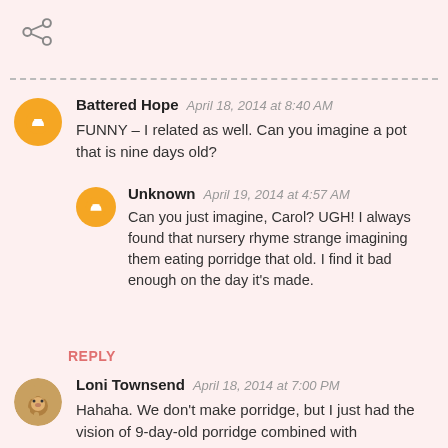[Figure (other): Share icon (less-than symbol style) in top left corner]
Battered Hope  April 18, 2014 at 8:40 AM
FUNNY – I related as well. Can you imagine a pot that is nine days old?
Unknown  April 19, 2014 at 4:57 AM
Can you just imagine, Carol? UGH! I always found that nursery rhyme strange imagining them eating porridge that old. I find it bad enough on the day it's made.
REPLY
Loni Townsend  April 18, 2014 at 7:00 PM
Hahaha. We don't make porridge, but I just had the vision of 9-day-old porridge combined with